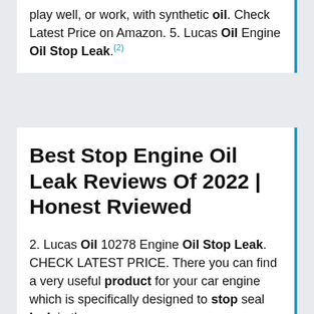play well, or work, with synthetic oil. Check Latest Price on Amazon. 5. Lucas Oil Engine Oil Stop Leak.(2)
Best Stop Engine Oil Leak Reviews Of 2022 | Honest Rviewed
2. Lucas Oil 10278 Engine Oil Stop Leak. CHECK LATEST PRICE. There you can find a very useful product for your car engine which is specifically designed to stop seal leak in the